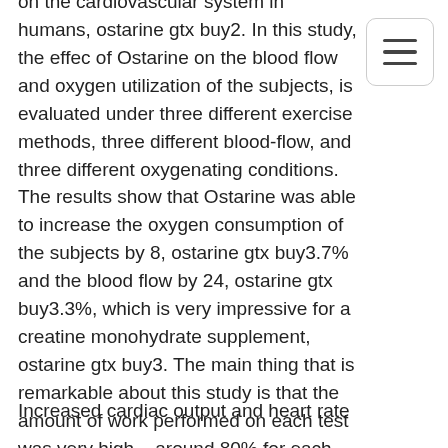on the cardiovascular system in humans, ostarine gtx buy2. In this study, the effect of Ostarine on the blood flow and oxygen utilization of the subjects, is evaluated under three different exercise methods, three different blood-flow, and three different oxygenating conditions. The results show that Ostarine was able to increase the oxygen consumption of the subjects by 8, ostarine gtx buy3.7% and the blood flow by 24, ostarine gtx buy3.3%, which is very impressive for a creatine monohydrate supplement, ostarine gtx buy3. The main thing that is remarkable about this study is that the amount of work performed on each test was very high – around 80% for each test. This study also mentions the following benefits of Ostarine on the cardiac system, which are included in this article of the same author:
Increased cardiac output and heart rate